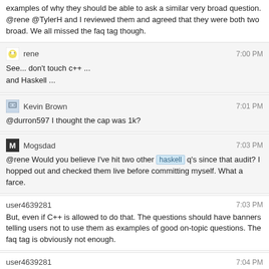examples of why they should be able to ask a similar very broad question. @rene @TylerH and I reviewed them and agreed that they were both two broad. We all missed the faq tag though.
rene 7:00 PM
See... don't touch c++ ...
and Haskell ...
Kevin Brown 7:01 PM
@durron597 I thought the cap was 1k?
Mogsdad 7:03 PM
@rene Would you believe I've hit two other haskell q's since that audit? I hopped out and checked them live before committing myself. What a farce.
user4639281 7:03 PM
But, even if C++ is allowed to do that. The questions should have banners telling users not to use them as examples of good on-topic questions. The faq tag is obviously not enough.
user4639281 7:04 PM
[Figure (screenshot): Embedded question preview showing score -16, title 'I have a question on hold, it is similar to other successful questions, what is wrong with it?' and body text about std::stringstream with discussion tag.]